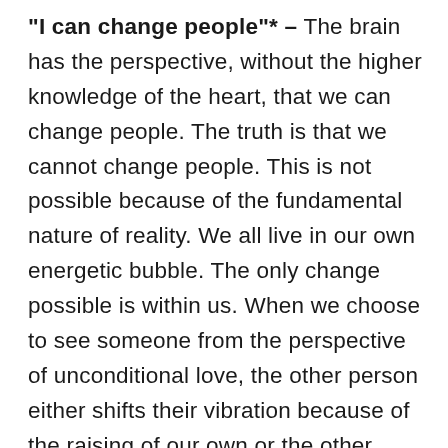"I can change people"* – The brain has the perspective, without the higher knowledge of the heart, that we can change people.  The truth is that we cannot change people.  This is not possible because of the fundamental nature of reality.  We all live in our own energetic bubble.  The only change possible is within us.  When we choose to see someone from the perspective of unconditional love, the other person either shifts their vibration because of the raising of our own or the other person's behavior no longer bothers us....because we see them through love and know that no one else can affect our lives unless we allow them to...